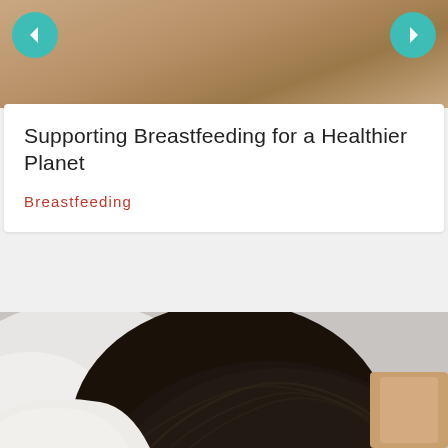[Figure (photo): Top portion of a photo showing an arm/skin in warm brown tones, with teal navigation arrows on left and right sides]
Supporting Breastfeeding for a Healthier Planet
Breastfeeding
[Figure (photo): Bottom portion showing the back of a person's head with dark braided hair, lying on white bedding/pillow]